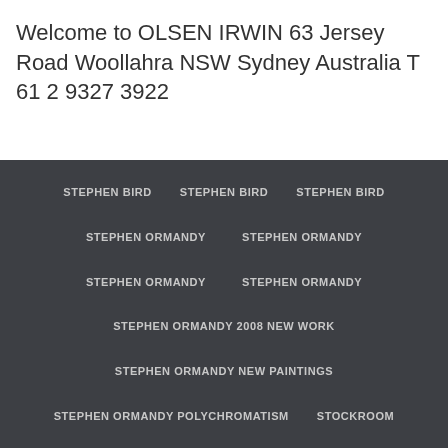Welcome to OLSEN IRWIN 63 Jersey Road Woollahra NSW Sydney Australia T 61 2 9327 3922
STEPHEN BIRD   STEPHEN BIRD   STEPHEN BIRD
STEPHEN ORMANDY   STEPHEN ORMANDY
STEPHEN ORMANDY   STEPHEN ORMANDY
STEPHEN ORMANDY 2008 NEW WORK
STEPHEN ORMANDY NEW PAINTINGS
STEPHEN ORMANDY POLYCHROMATISM   STOCKROOM